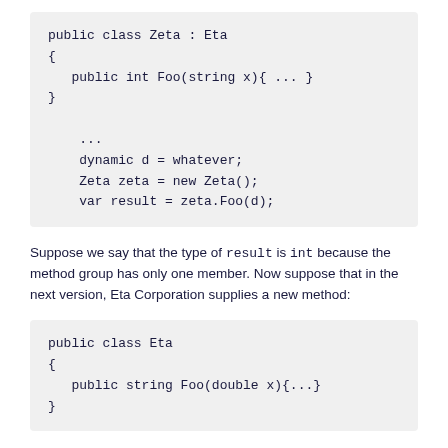Suppose we say that the type of result is int because the method group has only one member. Now suppose that in the next version, Eta Corporation supplies a new method:
Zeta corporation recompiles their code, and how presto